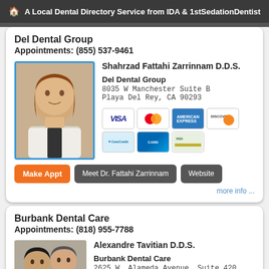A Local Dental Directory Service from IDA & 1stSedationDentist
Del Dental Group
Appointments: (855) 537-9461
[Figure (photo): Photo of Dr. Shahrzad Fattahi Zarrinnam, a woman with long auburn hair wearing a white blazer, standing in front of greenery]
Shahrzad Fattahi Zarrinnam D.D.S.
Del Dental Group
8035 W Manchester Suite B
Playa Del Rey, CA 90293
[Figure (infographic): Payment method icons: VISA, MasterCard, American Express, Discover, CareCredit, blue card, and one more card]
Make Appt   Meet Dr. Fattahi Zarrinnam   Website
more info ...
Burbank Dental Care
Appointments: (818) 955-7788
[Figure (photo): Photo of two men, presumably doctors at Burbank Dental Care]
Alexandre Tavitian D.D.S.
Burbank Dental Care
2625 W. Alameda Avenue, Suite 420